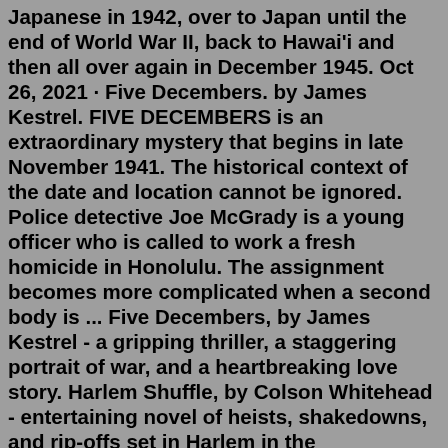Japanese in 1942, over to Japan until the end of World War II, back to Hawai'i and then all over again in December 1945. Oct 26, 2021 · Five Decembers. by James Kestrel. FIVE DECEMBERS is an extraordinary mystery that begins in late November 1941. The historical context of the date and location cannot be ignored. Police detective Joe McGrady is a young officer who is called to work a fresh homicide in Honolulu. The assignment becomes more complicated when a second body is ... Five Decembers, by James Kestrel - a gripping thriller, a staggering portrait of war, and a heartbreaking love story. Harlem Shuffle, by Colson Whitehead - entertaining novel of heists, shakedowns, and rip-offs set in Harlem in the 1960s.Recommendations from our site. Five Decembers is a mystery set in World War II, starting off in Hawaii just before Pearl Harbor. The main protagonist is a Honolulu Police Department detective, who ends up travelling to Wake Island, Guam, Hong Kong and Tokyo in his search for the perpetrator of two brutal murders